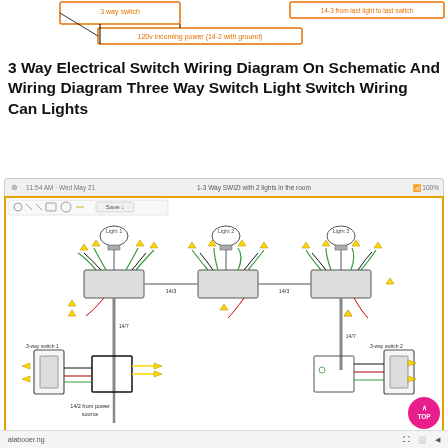[Figure (schematic): Top portion of a 3-way switch wiring schematic showing incoming 120v power (14-2 with ground) label and 14-3 from last light to last switch label with partial wiring diagram]
3 Way Electrical Switch Wiring Diagram On Schematic And Wiring Diagram Three Way Switch Light Switch Wiring Can Lights
[Figure (schematic): Screenshot of a draw.io wiring diagram showing a 3-way switch wiring diagram with 3 lights (Light 1, Light 2, Light 3), two 3-way switches, junction boxes, and color-coded wires (green, black, red) with yellow wire-nut arrows. Labels include 14/3, 14/2, 3-way switch 1, 3-way switch 2, and 14/2 from power source.]
alabooer.ng